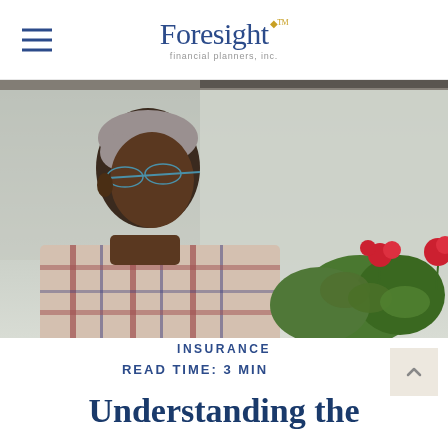Foresight financial planners, inc.
[Figure (photo): An elderly Black man wearing glasses and a plaid shirt, sitting outdoors near red geranium flowers, looking pensively to the side.]
INSURANCE
READ TIME: 3 MIN
Understanding the